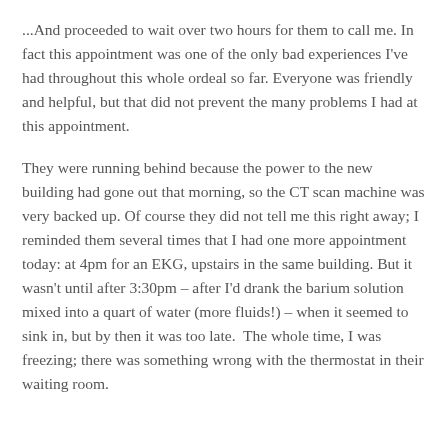...And proceeded to wait over two hours for them to call me. In fact this appointment was one of the only bad experiences I've had throughout this whole ordeal so far. Everyone was friendly and helpful, but that did not prevent the many problems I had at this appointment.
They were running behind because the power to the new building had gone out that morning, so the CT scan machine was very backed up. Of course they did not tell me this right away; I reminded them several times that I had one more appointment today: at 4pm for an EKG, upstairs in the same building. But it wasn't until after 3:30pm – after I'd drank the barium solution mixed into a quart of water (more fluids!) – when it seemed to sink in, but by then it was too late.  The whole time, I was freezing; there was something wrong with the thermostat in their waiting room.